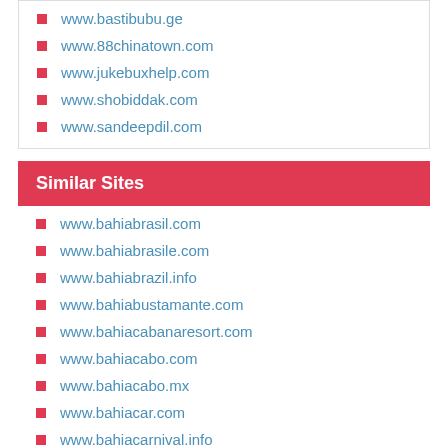www.bastibubu.ge
www.88chinatown.com
www.jukebuxhelp.com
www.shobiddak.com
www.sandeepdil.com
Similar Sites
www.bahiabrasil.com
www.bahiabrasile.com
www.bahiabrazil.info
www.bahiabustamante.com
www.bahiacabanaresort.com
www.bahiacabo.com
www.bahiacabo.mx
www.bahiacar.com
www.bahiacarnival.info
www.bahiacont.com.br
All Sites